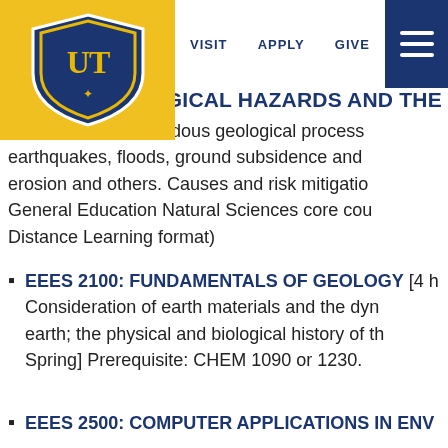VISIT   APPLY   GIVE
ES 1050: GEOLOGICAL HAZARDS AND THE P
Introduction to hazardous geological process earthquakes, floods, ground subsidence and erosion and others. Causes and risk mitigation General Education Natural Sciences core cour Distance Learning format)
EEES 2100: FUNDAMENTALS OF GEOLOGY [4 h Consideration of earth materials and the dyn earth; the physical and biological history of th Spring] Prerequisite: CHEM 1090 or 1230.
EEES 2500: COMPUTER APPLICATIONS IN ENV